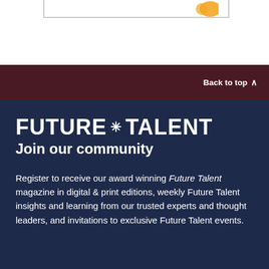[Figure (illustration): Partial view of a bordered box with a gold/yellow decorative shape in the top-right corner, on a white background]
Back to top ^
FUTURE * TALENT
Join our community
Register to receive our award winning Future Talent magazine in digital & print editions, weekly Future Talent insights and learning from our trusted experts and thought leaders, and invitations to exclusive Future Talent events.